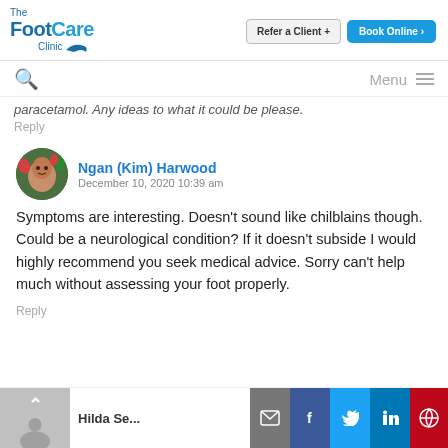[Figure (logo): The FootCare Clinic logo with blue text and bird/swoosh graphic]
Refer a Client +
Book Online >
Menu
paracetamol. Any ideas to what it could be please.
Reply
Ngan (Kim) Harwood
December 10, 2020 10:39 am
Symptoms are interesting. Doesn't sound like chilblains though. Could be a neurological condition? If it doesn't subside I would highly recommend you seek medical advice. Sorry can't help much without assessing your foot properly.
Reply
Hilda Se...